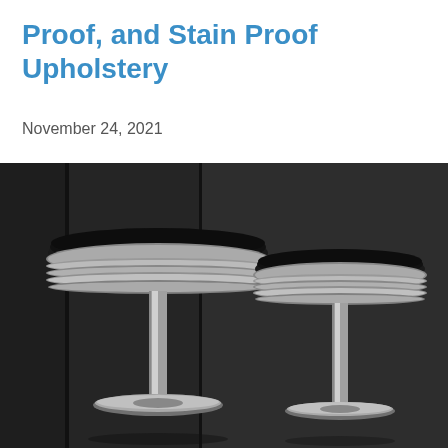Proof, and Stain Proof Upholstery
November 24, 2021
[Figure (photo): Two retro-style diner bar stools with black cushioned seats, chrome/silver ribbed bases and round pedestal base rings, set against a dark charcoal textured background.]